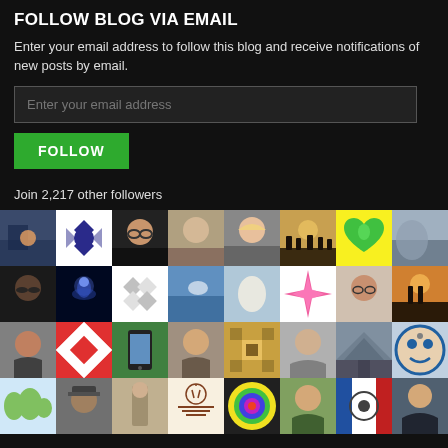FOLLOW BLOG VIA EMAIL
Enter your email address to follow this blog and receive notifications of new posts by email.
Enter your email address
FOLLOW
Join 2,217 other followers
[Figure (photo): Grid of follower avatar profile pictures arranged in 4 rows of 8 avatars each]